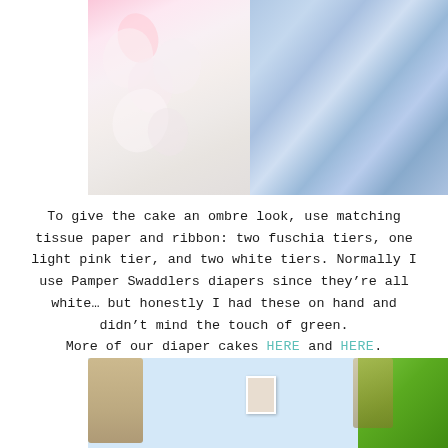[Figure (photo): Close-up photo of paper flower petals (pink and white) on the left side, and blue/white striped fabric (diapers) on the right side, part of a diaper cake.]
To give the cake an ombre look, use matching tissue paper and ribbon: two fuschia tiers, one light pink tier, and two white tiers. Normally I use Pamper Swaddlers diapers since they're all white… but honestly I had these on hand and didn't mind the touch of green.
More of our diaper cakes HERE and HERE.
[Figure (photo): Outdoor baby shower table setup with white tablecloth, hot pink ribbon accent, pink tissue paper pompoms as centerpiece, a framed photo, small glass votives, wooden folding chairs, and green grass in background.]